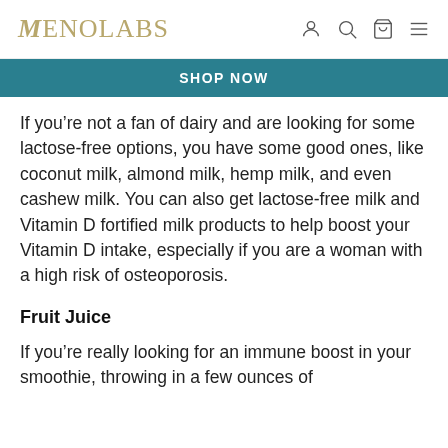MENOLABS
SHOP NOW
If you’re not a fan of dairy and are looking for some lactose-free options, you have some good ones, like coconut milk, almond milk, hemp milk, and even cashew milk. You can also get lactose-free milk and Vitamin D fortified milk products to help boost your Vitamin D intake, especially if you are a woman with a high risk of osteoporosis.
Fruit Juice
If you’re really looking for an immune boost in your smoothie, throwing in a few ounces of